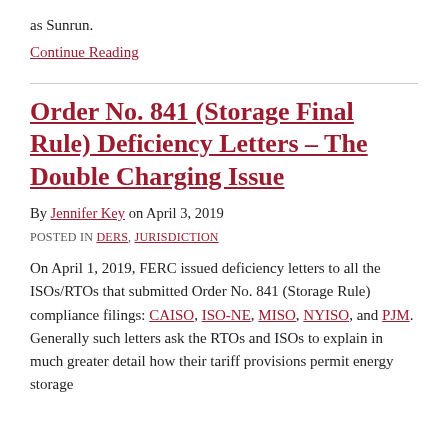as Sunrun.
Continue Reading
Order No. 841 (Storage Final Rule) Deficiency Letters – The Double Charging Issue
By Jennifer Key on April 3, 2019
POSTED IN DERS, JURISDICTION
On April 1, 2019, FERC issued deficiency letters to all the ISOs/RTOs that submitted Order No. 841 (Storage Rule) compliance filings: CAISO, ISO-NE, MISO, NYISO, and PJM. Generally such letters ask the RTOs and ISOs to explain in much greater detail how their tariff provisions permit energy storage